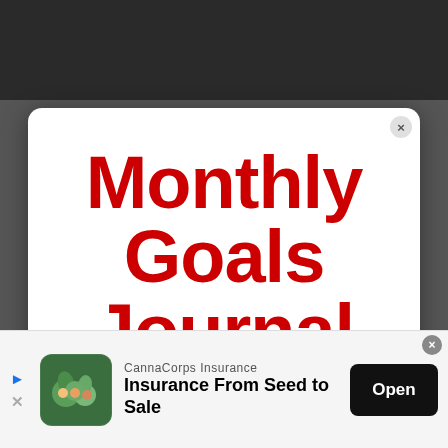[Figure (photo): Dark background image visible at top of page behind modal card]
Monthly Goals Journal for Personal Growth
[Figure (infographic): Advertisement banner: CannaCorps Insurance - Insurance From Seed to Sale, with Open button]